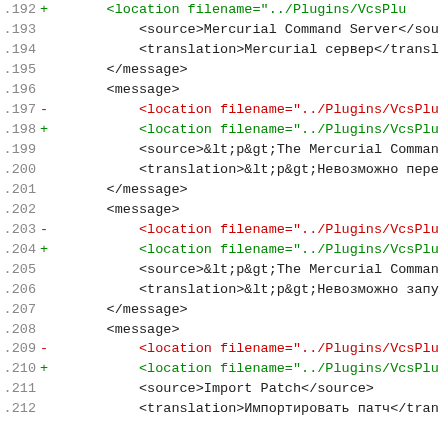[Figure (screenshot): Code diff view showing XML translation file lines 192-212 with line numbers, +/- markers, and syntax-colored content in monospace font]